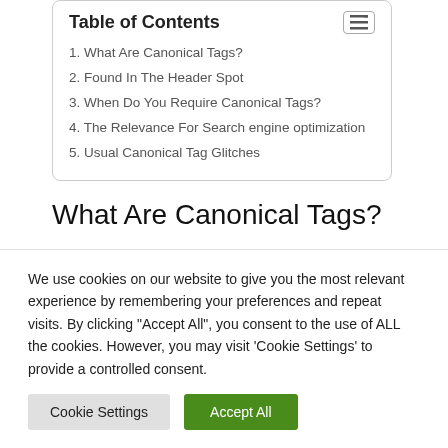Table of Contents
1. What Are Canonical Tags?
2. Found In The Header Spot
3. When Do You Require Canonical Tags?
4. The Relevance For Search engine optimization
5. Usual Canonical Tag Glitches
What Are Canonical Tags?
First created in 2009, canonical tags ended up released to aid Google realize that particular URLs are actually duplicate web pages. The tag could refer to an inside or
We use cookies on our website to give you the most relevant experience by remembering your preferences and repeat visits. By clicking "Accept All", you consent to the use of ALL the cookies. However, you may visit 'Cookie Settings' to provide a controlled consent.